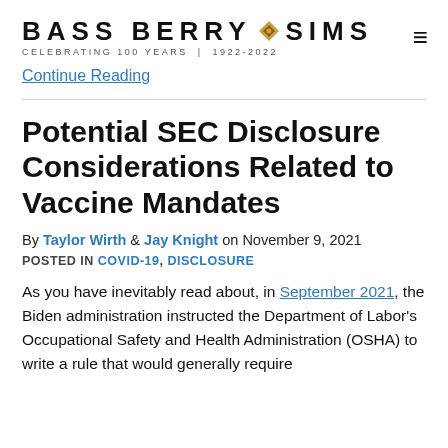BASS BERRY ◆ SIMS — CELEBRATING 100 YEARS | 1922-2022
Continue Reading
Potential SEC Disclosure Considerations Related to Vaccine Mandates
By Taylor Wirth & Jay Knight on November 9, 2021
POSTED IN COVID-19, DISCLOSURE
As you have inevitably read about, in September 2021, the Biden administration instructed the Department of Labor's Occupational Safety and Health Administration (OSHA) to write a rule that would generally require